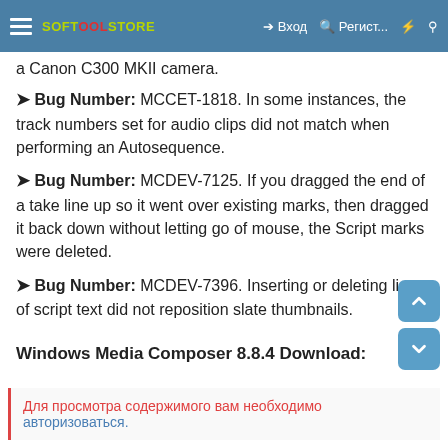SOFTOOLSTORE — Вход | Регист... | ⚡ | 🔍
a Canon C300 MKII camera.
➤ Bug Number: MCCET-1818. In some instances, the track numbers set for audio clips did not match when performing an Autosequence.
➤ Bug Number: MCDEV-7125. If you dragged the end of a take line up so it went over existing marks, then dragged it back down without letting go of mouse, the Script marks were deleted.
➤ Bug Number: MCDEV-7396. Inserting or deleting lines of script text did not reposition slate thumbnails.
Windows Media Composer 8.8.4 Download:
Для просмотра содержимого вам необходимо авторизоваться.